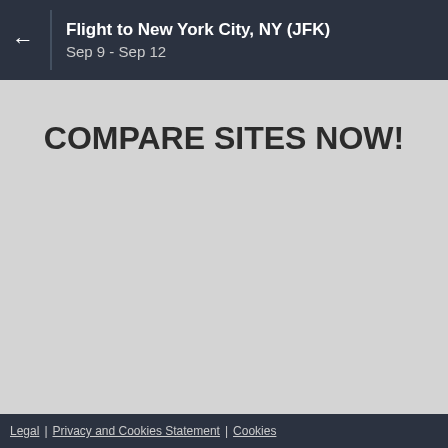Flight to New York City, NY (JFK)
Sep 9 - Sep 12
COMPARE SITES NOW!
Legal | Privacy and Cookies Statement | Cookies